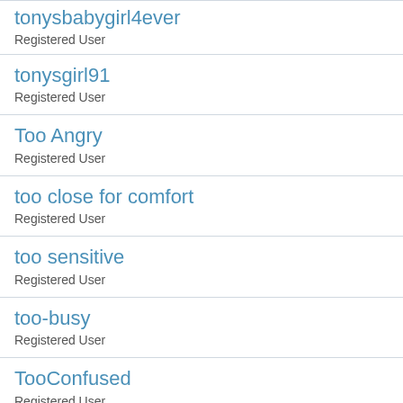tonysbabygirl4ever
Registered User
tonysgirl91
Registered User
Too Angry
Registered User
too close for comfort
Registered User
too sensitive
Registered User
too-busy
Registered User
TooConfused
Registered User